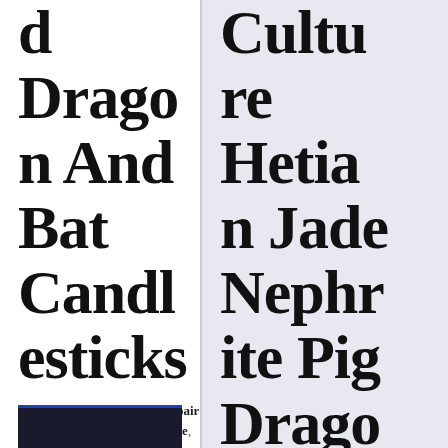d Dragon And Bat Candlesticks
Posted by admin | Categories pair | Tagged candlesticks, chinese, dragon, gilt, painted, pair
Culture Hetian Jade Nephrite Pig Dragon Statue